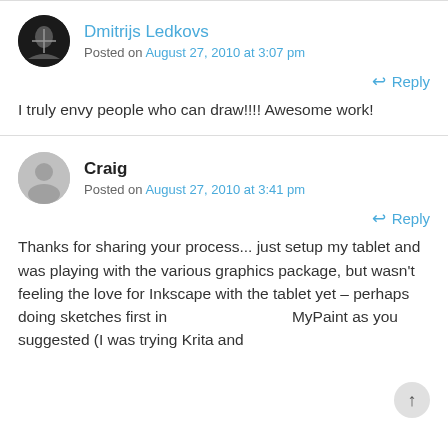Dmitrijs Ledkovs
Posted on August 27, 2010 at 3:07 pm
Reply
I truly envy people who can draw!!!! Awesome work!
Craig
Posted on August 27, 2010 at 3:41 pm
Reply
Thanks for sharing your process... just setup my tablet and was playing with the various graphics package, but wasn't feeling the love for Inkscape with the tablet yet – perhaps doing sketches first in MyPaint as you suggested (I was trying Krita and